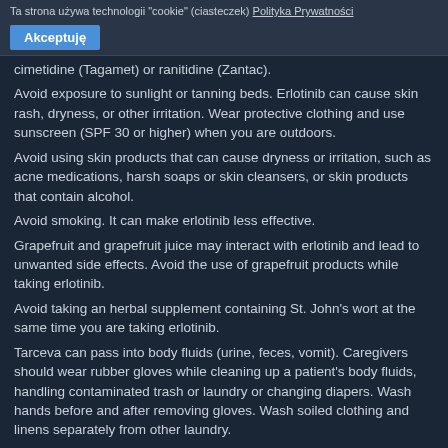Ta strona używa technologii "cookie" (ciasteczek) Polityka Prywatności  Akceptuję
cimetidine (Tagamet) or ranitidine (Zantac).
Avoid exposure to sunlight or tanning beds. Erlotinib can cause skin rash, dryness, or other irritation. Wear protective clothing and use sunscreen (SPF 30 or higher) when you are outdoors.
Avoid using skin products that can cause dryness or irritation, such as acne medications, harsh soaps or skin cleansers, or skin products that contain alcohol.
Avoid smoking. It can make erlotinib less effective.
Grapefruit and grapefruit juice may interact with erlotinib and lead to unwanted side effects. Avoid the use of grapefruit products while taking erlotinib.
Avoid taking an herbal supplement containing St. John's wort at the same time you are taking erlotinib.
Tarceva can pass into body fluids (urine, feces, vomit). Caregivers should wear rubber gloves while cleaning up a patient's body fluids, handling contaminated trash or laundry or changing diapers. Wash hands before and after removing gloves. Wash soiled clothing and linens separately from other laundry.
Tarceva Online Canada
If you have http://www.unioncapitalpe.com/tarceva-price-comparison/